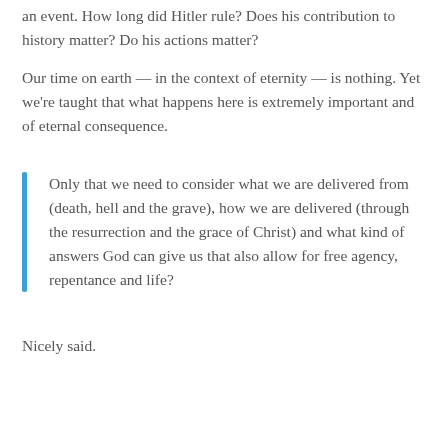an event. How long did Hitler rule? Does his contribution to history matter? Do his actions matter?
Our time on earth — in the context of eternity — is nothing. Yet we're taught that what happens here is extremely important and of eternal consequence.
Only that we need to consider what we are delivered from (death, hell and the grave), how we are delivered (through the resurrection and the grace of Christ) and what kind of answers God can give us that also allow for free agency, repentance and life?
Nicely said.